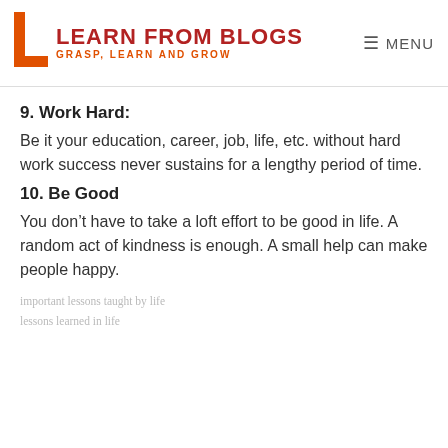LEARN FROM BLOGS — GRASP, LEARN AND GROW | MENU
9. Work Hard:
Be it your education, career, job, life, etc. without hard work success never sustains for a lengthy period of time.
10. Be Good
You don’t have to take a loft effort to be good in life. A random act of kindness is enough. A small help can make people happy.
important lessons taught by life
lessons learned in life